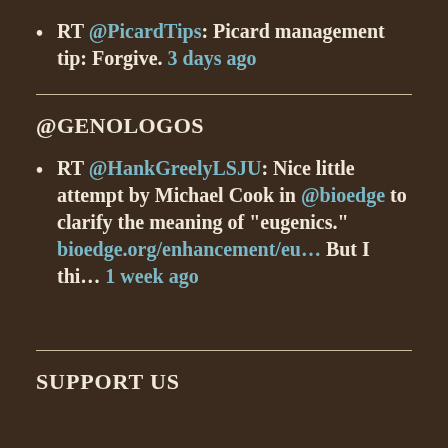RT @PicardTips: Picard management tip: Forgive. 3 days ago
RT @HankGreelyLSJU: Nice little attempt by Michael Cook in @bioedge to clarify the meaning of "eugenics." bioedge.org/enhancement/eu... But I thi... 1 week ago
@GENOLOGOS
SUPPORT US